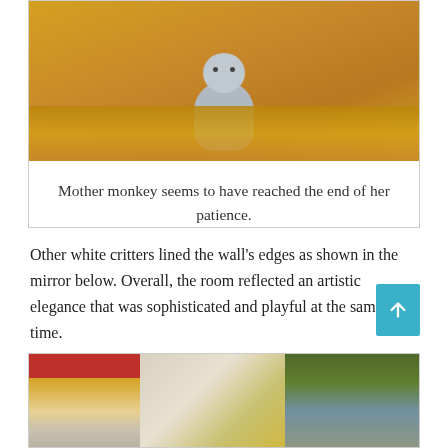[Figure (photo): Photo of a ceramic monkey figurine placed on a gold/amber-colored surface or wrapping. The monkey is light gray/white in color.]
Mother monkey seems to have reached the end of her patience.
Other white critters lined the wall's edges as shown in the mirror below. Overall, the room reflected an artistic elegance that was sophisticated and playful at the same time.
[Figure (photo): A wide mirror or window reflection showing a decorated room with a red chandelier/lamp on the left, golden decorative elements in the center, and green foliage on the right.]